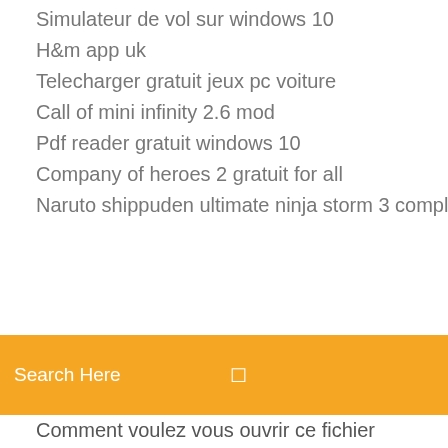Simulateur de vol sur windows 10
H&m app uk
Telecharger gratuit jeux pc voiture
Call of mini infinity 2.6 mod
Pdf reader gratuit windows 10
Company of heroes 2 gratuit for all
Naruto shippuden ultimate ninja storm 3 complete burst pc
[Figure (screenshot): Orange search bar with text 'Search Here' and a search icon on the right]
Comment voulez vous ouvrir ce fichier windows 8
Mise a jour explorer android
Conversion avchd en avi
Samsung smart tv remote buy online india
Bluestacks 4 para windows 10 64 bits
Euro truck simulator 1 gratuit
Os x yosemite télécharger apple
Télécharger photoshop gratuitement en français version complete
Comment lire des fichiers pdf sur mon ipad